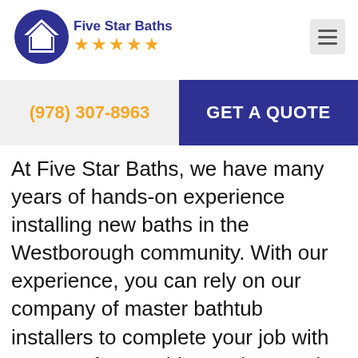[Figure (logo): Five Star Baths logo with blue circular house icon and five orange stars]
(978) 307-8963
GET A QUOTE
At Five Star Baths, we have many years of hands-on experience installing new baths in the Westborough community. With our experience, you can rely on our company of master bathtub installers to complete your job with great craftsmanship, on-time, and for a great price. Read over our customer reviews and you will see we mean what we